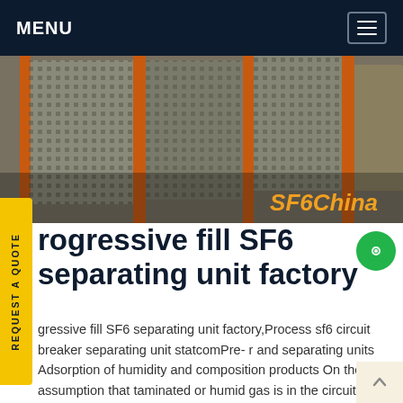MENU
[Figure (photo): Industrial equipment photo showing metal mesh/perforated panels with orange structural frames in a factory setting. 'SF6China' watermark in orange italic text at bottom right.]
Progressive fill SF6 separating unit factory
Progressive fill SF6 separating unit factory,Process sf6 circuit breaker separating unit statcomPre- r and separating units Adsorption of humidity and composition products On the assumption that taminated or humid gas is in the circuit breaker we . Offering Sf6 Gas GFU10 Gas Filling Unit in Mumbai, Maharashtra. Get best price and read about company.Get price